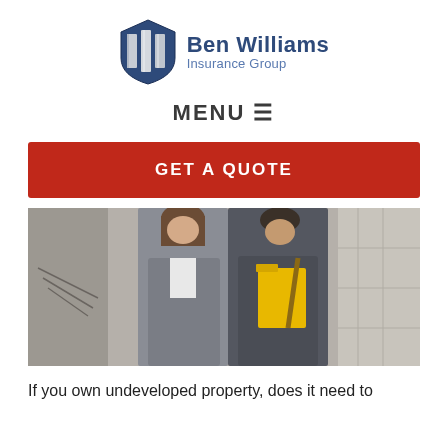[Figure (logo): Ben Williams Insurance Group logo with shield icon and company name]
MENU ≡
GET A QUOTE
[Figure (photo): Two business professionals in suits walking through a building under construction, one holding a yellow folder]
If you own undeveloped property, does it need to